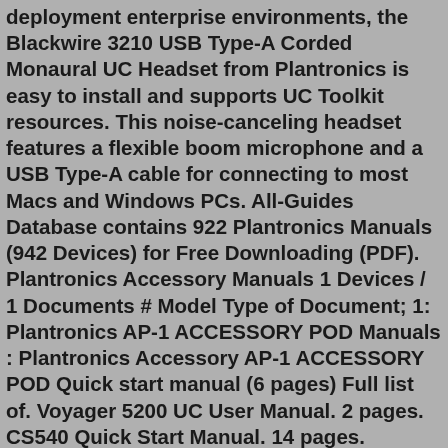deployment enterprise environments, the Blackwire 3210 USB Type-A Corded Monaural UC Headset from Plantronics is easy to install and supports UC Toolkit resources. This noise-canceling headset features a flexible boom microphone and a USB Type-A cable for connecting to most Macs and Windows PCs. All-Guides Database contains 922 Plantronics Manuals (942 Devices) for Free Downloading (PDF). Plantronics Accessory Manuals 1 Devices / 1 Documents # Model Type of Document; 1: Plantronics AP-1 ACCESSORY POD Manuals : Plantronics Accessory AP-1 ACCESSORY POD Quick start manual (6 pages) Full list of. Voyager 5200 UC User Manual. 2 pages. CS540 Quick Start Manual. 14 pages. Voyager Legend User Manual. 20 pages. Savi 8200 Series User Manual. 36 pages. Savi 700 User Manual. Sep 13, 2021 · Step 2. Hold the volume control up button on your earpiece (in or out of the charging base is OK) until a strong white LED light shows up on the headset, then, at that point, discharge. *Note: If you've had your headset for 2